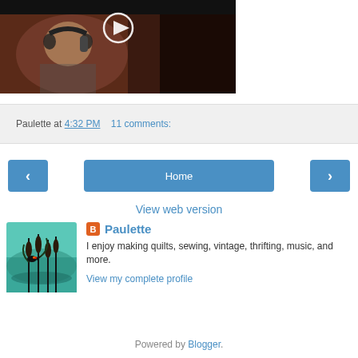[Figure (photo): Video thumbnail showing a person with headphones in a dark recording studio, with a play button overlay]
Paulette at 4:32 PM    11 comments:
< Home >
View web version
[Figure (illustration): Profile photo showing cattails/bulrushes illustration on teal/green background with a red-winged blackbird]
Paulette
I enjoy making quilts, sewing, vintage, thrifting, music, and more.
View my complete profile
Powered by Blogger.